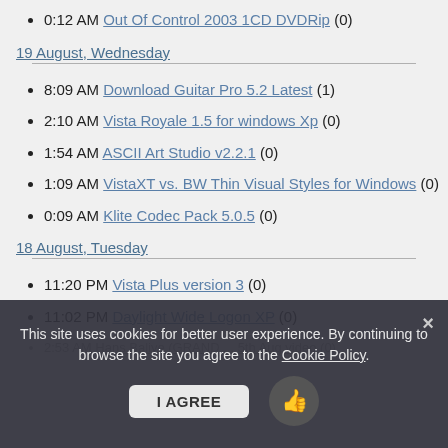0:12 AM Out Of Control 2003 1CD DVDRip (0)
19 August, Wednesday
8:09 AM Download Guitar Pro 5.2 Latest (1)
2:10 AM Vista Royale 1.5 for windows Xp (0)
1:54 AM ASCII Art Studio v2.2.1 (0)
1:09 AM VistaXT vs. BW Thin Visual Styles for Windows (0)
0:09 AM Klite Codec Pack 5.0.5 (0)
18 August, Tuesday
11:20 PM Vista Plus version 3 (0)
11:02 PM Daylight Wide Logon XP (0)
2:53 AM Hans Baliye (GRAND ... 5th Aug video (0)
This site uses cookies for better user experience. By continuing to browse the site you agree to the Cookie Policy.
I AGREE